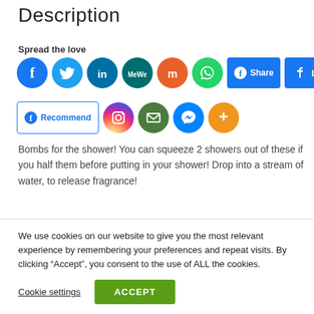Description
Spread the love
[Figure (other): Social media sharing buttons row 1: Facebook, Twitter, LinkedIn, MeWe, Mix, WhatsApp, Facebook Share, Facebook Like]
[Figure (other): Social media sharing buttons row 2: Facebook Recommend, Instagram, Email, Messenger, More (+)]
Bombs for the shower! You can squeeze 2 showers out of these if you half them before putting in your shower! Drop into a stream of water, to release fragrance!
You can use this foam to wash with too !
We use cookies on our website to give you the most relevant experience by remembering your preferences and repeat visits. By clicking “Accept”, you consent to the use of ALL the cookies.
Cookie settings | ACCEPT